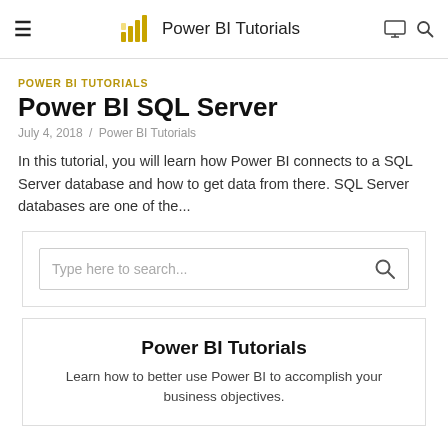Power BI Tutorials
POWER BI TUTORIALS
Power BI SQL Server
July 4, 2018 / Power BI Tutorials
In this tutorial, you will learn how Power BI connects to a SQL Server database and how to get data from there. SQL Server databases are one of the...
[Figure (screenshot): Search box widget with placeholder text 'Type here to search...' and a magnifying glass icon]
Power BI Tutorials
Learn how to better use Power BI to accomplish your business objectives.